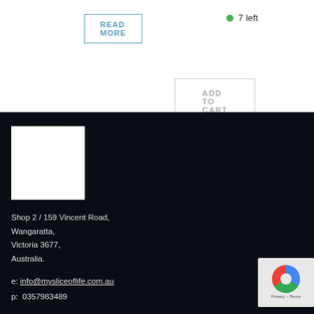READ MORE
• 7 left
ADD TO CART
[Figure (logo): White square logo placeholder on dark background]
Shop 2 / 159 Vincent Road, Wangaratta, Victoria 3677, Australia.
e: info@mysliceoflife.com.au
p:  0357983489
[Figure (other): reCAPTCHA badge with Privacy - Terms label]